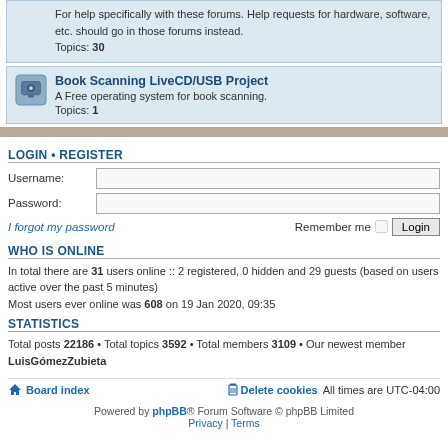For help specifically with these forums. Help requests for hardware, software, etc. should go in those forums instead. Topics: 30
Book Scanning LiveCD/USB Project
A Free operating system for book scanning. Topics: 1
LOGIN • REGISTER
Username:
Password:
I forgot my password
Remember me  Login
WHO IS ONLINE
In total there are 31 users online :: 2 registered, 0 hidden and 29 guests (based on users active over the past 5 minutes)
Most users ever online was 608 on 19 Jan 2020, 09:35
STATISTICS
Total posts 22186 • Total topics 3592 • Total members 3109 • Our newest member LuisGómezZubieta
Board index   Delete cookies   All times are UTC-04:00
Powered by phpBB® Forum Software © phpBB Limited
Privacy | Terms